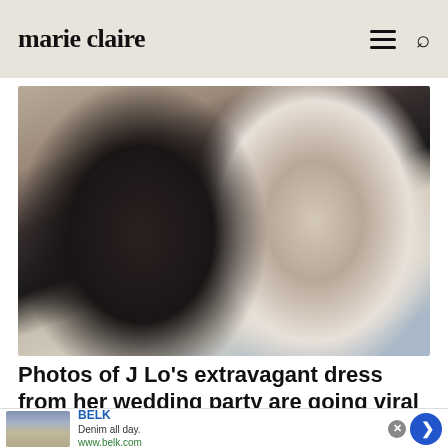marie claire
[Figure (photo): Ben Affleck in a black tuxedo and Jennifer Lopez in a white gown with crystal embellishments, looking at each other and smiling at a formal event]
Photos of J Lo's extravagant dress from her wedding party are going viral
[Figure (infographic): Advertisement for BELK: 'Denim all day. www.belk.com' with a product image and blue arrow button]